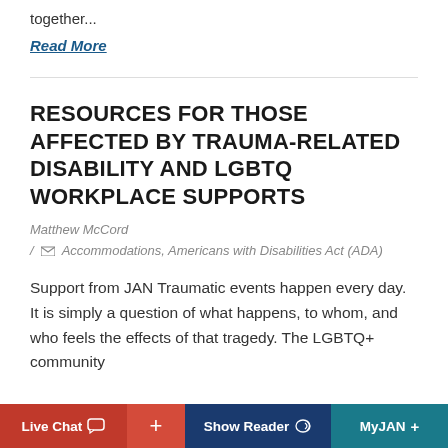together...
Read More
RESOURCES FOR THOSE AFFECTED BY TRAUMA-RELATED DISABILITY AND LGBTQ WORKPLACE SUPPORTS
Matthew McCord
/ Accommodations, Americans with Disabilities Act (ADA)
Support from JAN Traumatic events happen every day. It is simply a question of what happens, to whom, and who feels the effects of that tragedy. The LGBTQ+ community
Live Chat  +  Show Reader  MyJAN +